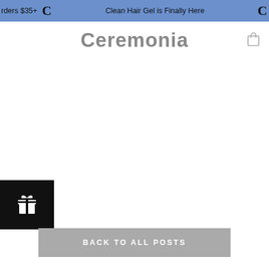rders $35+  C  Clean Hair Gel is Finally Here  C
Ceremonia
[Figure (other): Black square button with white gift/present icon]
BACK TO ALL POSTS